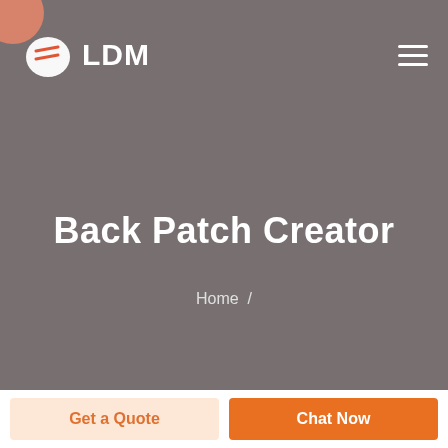LDM
Back Patch Creator
Home /
Get a Quote
Chat Now